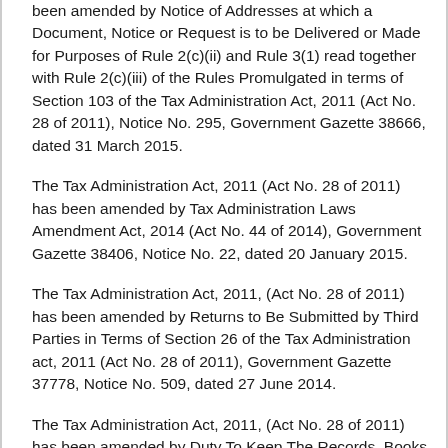been amended by Notice of Addresses at which a Document, Notice or Request is to be Delivered or Made for Purposes of Rule 2(c)(ii) and Rule 3(1) read together with Rule 2(c)(iii) of the Rules Promulgated in terms of Section 103 of the Tax Administration Act, 2011 (Act No. 28 of 2011), Notice No. 295, Government Gazette 38666, dated 31 March 2015.
The Tax Administration Act, 2011 (Act No. 28 of 2011) has been amended by Tax Administration Laws Amendment Act, 2014 (Act No. 44 of 2014), Government Gazette 38406, Notice No. 22, dated 20 January 2015.
The Tax Administration Act, 2011, (Act No. 28 of 2011) has been amended by Returns to Be Submitted by Third Parties in Terms of Section 26 of the Tax Administration act, 2011 (Act No. 28 of 2011), Government Gazette 37778, Notice No. 509, dated 27 June 2014.
The Tax Administration Act, 2011, (Act No. 28 of 2011) has been amended by Duty To Keep The Records, Books of Account or Documents in Terms of Section 29 and in The Form in Terms of section 30 of the Tax Administration Act, 2011 (Act No. 28 of 2011), Government Gazette 37778, Notice No. 508